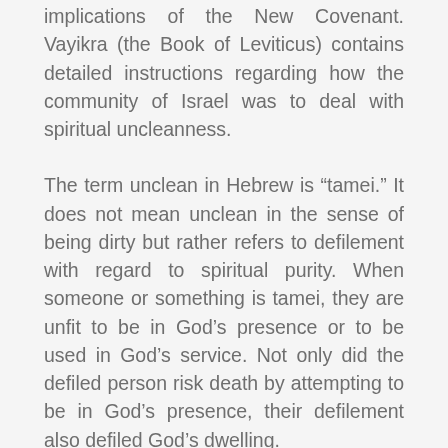implications of the New Covenant. Vayikra (the Book of Leviticus) contains detailed instructions regarding how the community of Israel was to deal with spiritual uncleanness.
The term unclean in Hebrew is “tamei.” It does not mean unclean in the sense of being dirty but rather refers to defilement with regard to spiritual purity. When someone or something is tamei, they are unfit to be in God’s presence or to be used in God’s service. Not only did the defiled person risk death by attempting to be in God’s presence, their defilement also defiled God’s dwelling.
Let me explain. God’s plan and purpose for creating the people of Israel were to make himself known to